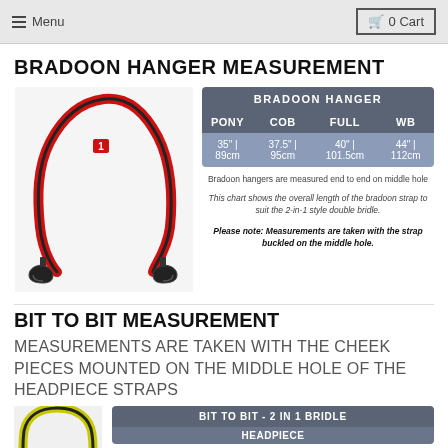Menu | 0 Cart
BRADOON HANGER MEASUREMENT
[Figure (photo): Red and black bradoon hanger strap with metal clips at each end, shown in an arch shape against white background. A small red numbered marker (1) is visible on the strap.]
| ['BRADOON HANGER', '', '', ''] | ['PONY', 'COB', 'FULL', 'WB'] |
| --- | --- |
| 35" | 89cm | 37.5" | 95cm | 40" | 101.5cm | 44" | 112cm |
Bradoon hangers are measured end to end on middle hole
This chart shows the overall length of the bradoon strap to suit the 2-in-1 style double bridle.
Please note: Measurements are taken with the strap buckled on the middle hole.
BIT TO BIT MEASUREMENT
MEASUREMENTS ARE TAKEN WITH THE CHEEK PIECES MOUNTED ON THE MIDDLE HOLE OF THE HEADPIECE STRAPS
[Figure (photo): Partial view of a yellow and black bit-to-bit bridle strap, cropped at bottom of page.]
| ['BIT TO BIT - 2 IN 1 BRIDLE', ''] | ['HEADPIECE', ''] |
| --- | --- |